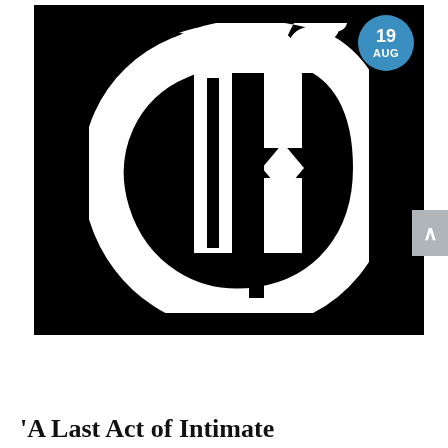[Figure (logo): New York Times 'T' logo in white on black background, with a blue circular date badge showing '19 AUG' in the upper right corner]
'A Last Act of Intimate